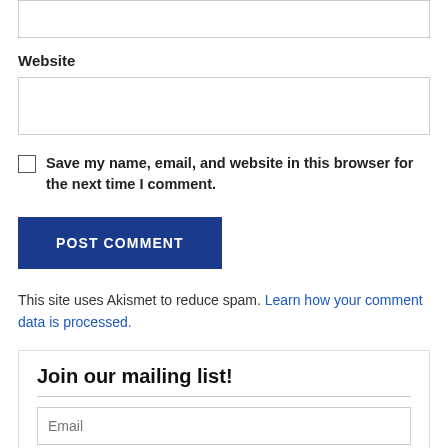[text input box at top]
Website
[website text input box]
Save my name, email, and website in this browser for the next time I comment.
POST COMMENT
This site uses Akismet to reduce spam. Learn how your comment data is processed.
Join our mailing list!
Email